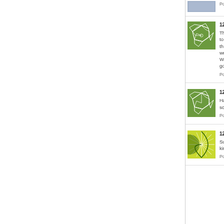[Figure (photo): Partial thumbnail of a blog post image at top, cropped]
Pos
[Figure (illustration): Green geometric pattern thumbnail - 124]
124
Tha
to th
we
Wo
goo
Pos
[Figure (illustration): Green geometric pattern thumbnail - 125]
125
Hap
scra
Pos
[Figure (illustration): Yellow-green starburst/radial pattern thumbnail - 126]
126
Suc
kin
Pos